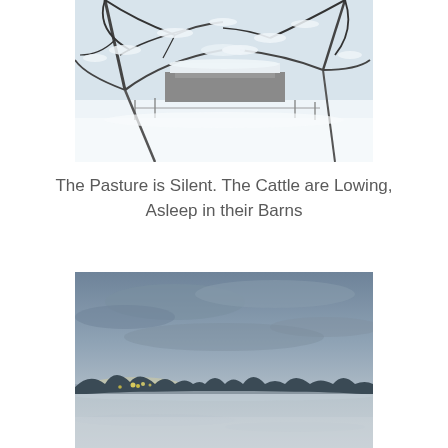[Figure (photo): Winter scene with snow-covered tree branches in the foreground and a snow-covered pasture with a fence or building visible in the background. Black and white/grey tones with heavy snow.]
The Pasture is Silent. The Cattle are Lowing,
Asleep in their Barns
[Figure (photo): Twilight winter scene showing a snow-covered landscape with a grey-blue sky, distant treeline and scattered lights on the horizon, and blue-toned snow in the foreground.]